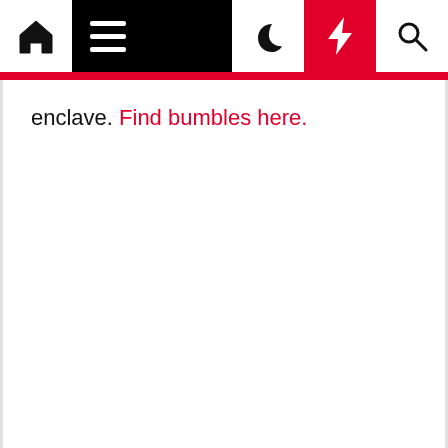Navigation bar with home, menu, moon, bolt, and search icons
enclave. Find bumbles here.